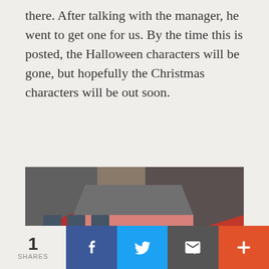there. After talking with the manager, he went to get one for us. By the time this is posted, the Halloween characters will be gone, but hopefully the Christmas characters will be out soon.
[Figure (photo): Aerial view of a detailed miniature model town scene showing colorful buildings including a pink/red house, a yellow building with a sign reading 'SHIPPING & STORAGE' (David Nevelia & Co.), miniature figures including people and what appear to be Halloween characters, colorful balloons, trees, and a street scene.]
1 SHARES | Facebook | Twitter | Email | +